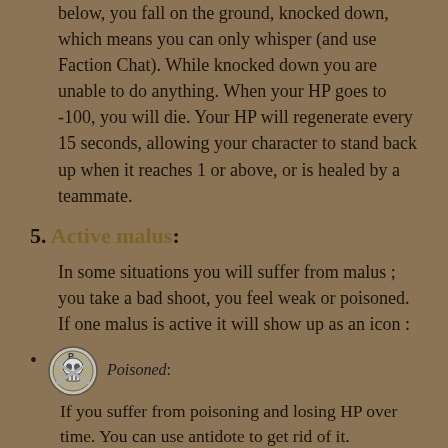below, you fall on the ground, knocked down, which means you can only whisper (and use Faction Chat). While knocked down you are unable to do anything. When your HP goes to -100, you will die. Your HP will regenerate every 15 seconds, allowing your character to stand back up when it reaches 1 or above, or is healed by a teammate.
5. Active malus:
In some situations you will suffer from malus ; you take a bad shoot, you feel weak or poisoned. If one malus is active it will show up as an icon :
Poisoned: If you suffer from poisoning and losing HP over time. You can use antidote to get rid of it.
Disoriented: Lowers your sight range and hit chance resulting in a